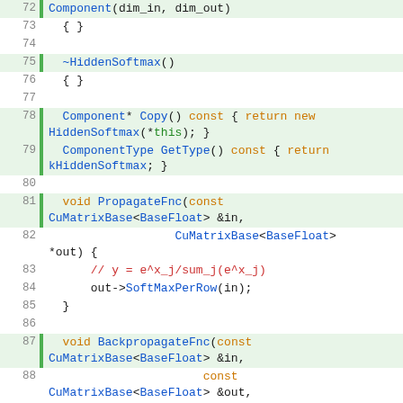[Figure (screenshot): Source code listing (C++) lines 72-95 showing HiddenSoftmax class methods including constructor, Copy, GetType, PropagateFnc, and BackpropagateFnc, with syntax highlighting in monospace font on light background with green left-margin bar for highlighted lines.]